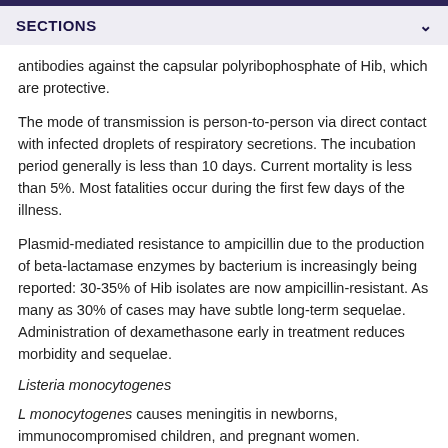SECTIONS
antibodies against the capsular polyribophosphate of Hib, which are protective.
The mode of transmission is person-to-person via direct contact with infected droplets of respiratory secretions. The incubation period generally is less than 10 days. Current mortality is less than 5%. Most fatalities occur during the first few days of the illness.
Plasmid-mediated resistance to ampicillin due to the production of beta-lactamase enzymes by bacterium is increasingly being reported: 30-35% of Hib isolates are now ampicillin-resistant. As many as 30% of cases may have subtle long-term sequelae. Administration of dexamethasone early in treatment reduces morbidity and sequelae.
Listeria monocytogenes
L monocytogenes causes meningitis in newborns, immunocompromised children, and pregnant women.